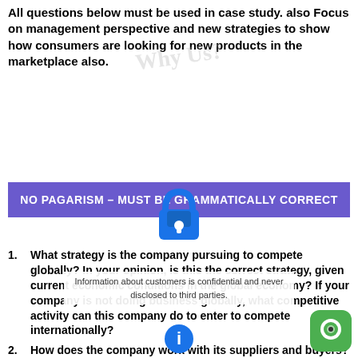All questions below must be used in case study. also Focus on management perspective and new strategies to show how consumers are looking for new products in the marketplace also.
NO PAGARISM – MUST BE GRAMMATICALLY CORRECT
1. What strategy is the company pursuing to compete globally? In your opinion, is this the correct strategy, given current economic conditions in the global economy? If your company is not doing business globally, what competitive activity can this company do to enter to compete internationally?
2. How does the company work with its suppliers and buyers? How vertically or horizontally integrated is the company?